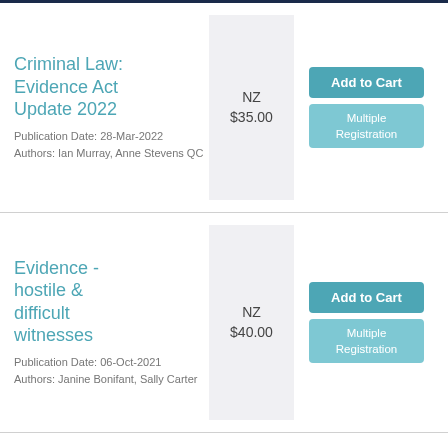Criminal Law: Evidence Act Update 2022
Publication Date: 28-Mar-2022
Authors: Ian Murray, Anne Stevens QC
NZ $35.00
Evidence - hostile & difficult witnesses
Publication Date: 06-Oct-2021
Authors: Janine Bonifant, Sally Carter
NZ $40.00